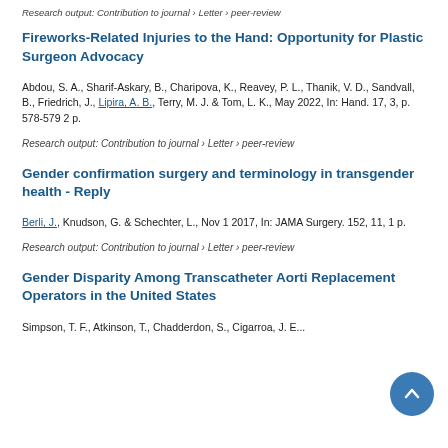Research output: Contribution to journal › Letter › peer-review
Fireworks-Related Injuries to the Hand: Opportunity for Plastic Surgeon Advocacy
Abdou, S. A., Sharif-Askary, B., Charipova, K., Reavey, P. L., Thanik, V. D., Sandvall, B., Friedrich, J., Lipira, A. B., Terry, M. J. & Tom, L. K., May 2022, In: Hand. 17, 3, p. 578-579 2 p.
Research output: Contribution to journal › Letter › peer-review
Gender confirmation surgery and terminology in transgender health - Reply
Berli, J., Knudson, G. & Schechter, L., Nov 1 2017, In: JAMA Surgery. 152, 11, 1 p.
Research output: Contribution to journal › Letter › peer-review
Gender Disparity Among Transcatheter Aortic Replacement Operators in the United States
Simpson, T. F., Atkinson, T., Chadderdon, S., Cigarroa, J. E...